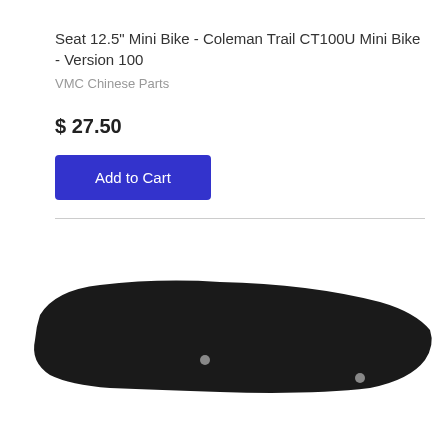Seat 12.5" Mini Bike - Coleman Trail CT100U Mini Bike - Version 100
VMC Chinese Parts
$ 27.50
[Figure (photo): Black mini bike seat / seat pan viewed from above, flat elongated shape with two mounting holes visible, on white background]